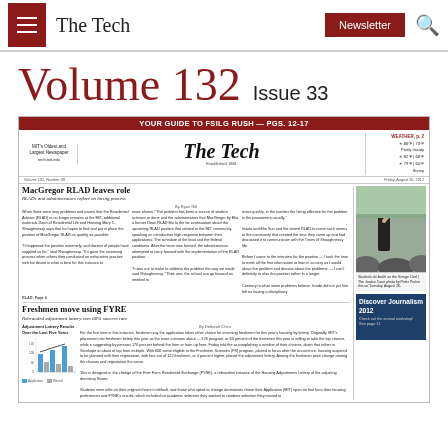The Tech | Newsletter | Search
Volume 132  Issue 33
[Figure (screenshot): Thumbnail of The Tech newspaper front page featuring: rush banner 'YOUR GUIDE TO FSILG RUSH — PGS. 12-17', The Tech masthead logo, weather box, headlines 'MacGregor RLAD leaves role' and 'Freshmen move using FYRE', adjustment lottery bar chart, and photo of person with fist raised at a crowd.]
Adjustment Lottery Results Over the Last Five Years